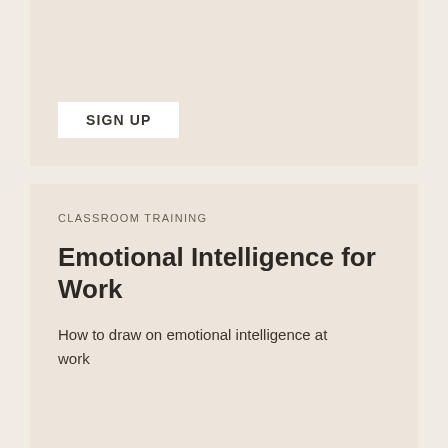SIGN UP
CLASSROOM TRAINING
Emotional Intelligence for Work
How to draw on emotional intelligence at work
SIGN UP